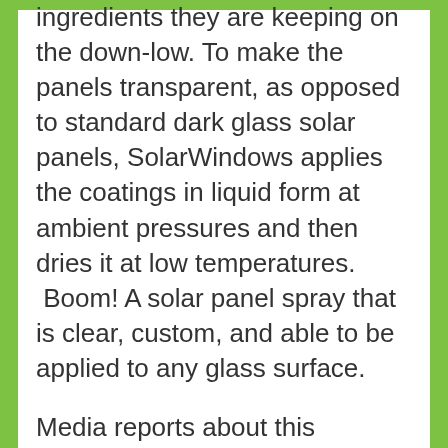ingredients they are keeping on the down-low. To make the panels transparent, as opposed to standard dark glass solar panels, SolarWindows applies the coatings in liquid form at ambient pressures and then dries it at low temperatures. Boom! A solar panel spray that is clear, custom, and able to be applied to any glass surface.
Media reports about this innovation have been somewhat skeptical — as though we are all collectively hedging our bets to avoid disappointment. If this technology does exist, and if it